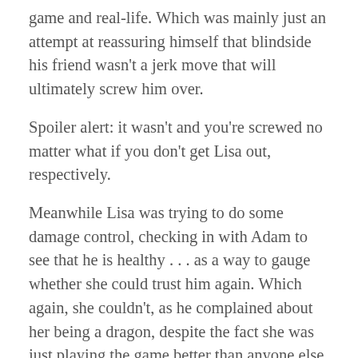game and real-life. Which was mainly just an attempt at reassuring himself that blindside his friend wasn't a jerk move that will ultimately screw him over.
Spoiler alert: it wasn't and you're screwed no matter what if you don't get Lisa out, respectively.
Meanwhile Lisa was trying to do some damage control, checking in with Adam to see that he is healthy . . . as a way to gauge whether she could trust him again. Which again, she couldn't, as he complained about her being a dragon, despite the fact she was just playing the game better than anyone else.
Before any of the simmering feuds could explode, Matty Chis returned for the reward challenge where the castaways would carry bags of dominoes across a balance beam. The first two to finish would move